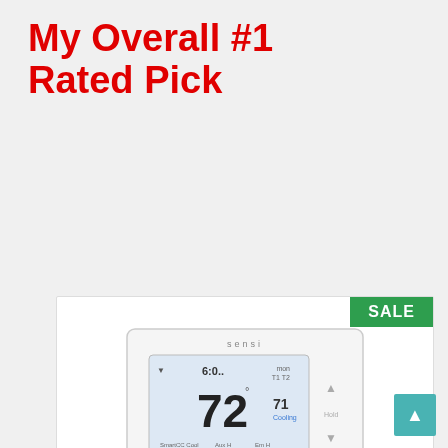My Overall #1 Rated Pick
[Figure (photo): Emerson Sensi Wi-Fi Smart Thermostat product card with SALE badge, thermostat device image, 4.5 star rating, product name in red, and Amazon Prime logo at bottom]
Emerson Sensi Wi-Fi Smart Thermostat